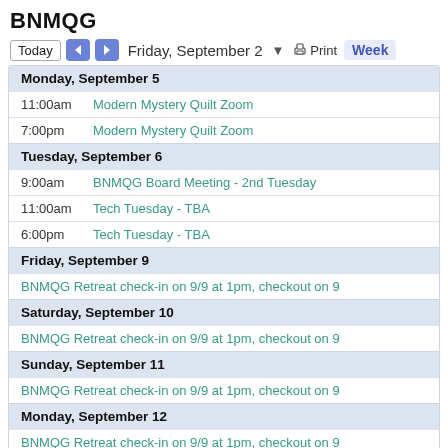BNMQG
Today  ◄  ► Friday, September 2 ▼ Print Week
Monday, September 5
11:00am  Modern Mystery Quilt Zoom
7:00pm  Modern Mystery Quilt Zoom
Tuesday, September 6
9:00am  BNMQG Board Meeting - 2nd Tuesday
11:00am  Tech Tuesday - TBA
6:00pm  Tech Tuesday - TBA
Friday, September 9
BNMQG Retreat check-in on 9/9 at 1pm, checkout on 9
Saturday, September 10
BNMQG Retreat check-in on 9/9 at 1pm, checkout on 9
Sunday, September 11
BNMQG Retreat check-in on 9/9 at 1pm, checkout on 9
Monday, September 12
BNMQG Retreat check-in on 9/9 at 1pm, checkout on 9
Saturday, September 17
National Sew a Jelly Roll Day!